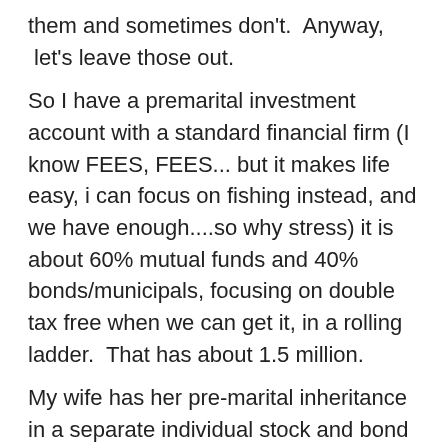them and sometimes don't.  Anyway,  let's leave those out.
So I have a premarital investment account with a standard financial firm (I know FEES, FEES... but it makes life easy, i can focus on fishing instead, and we have enough....so why stress) it is about 60% mutual funds and 40% bonds/municipals, focusing on double tax free when we can get it, in a rolling ladder.  That has about 1.5 million.
My wife has her pre-marital inheritance in a separate individual stock and bond account, managed by an advisor, also about $1.5M.
We each have a 403b with a non-profit at about 500K.